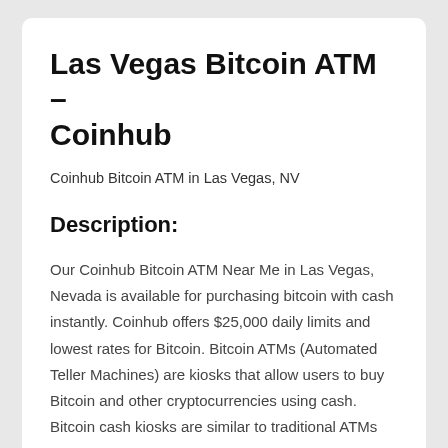Las Vegas Bitcoin ATM – Coinhub
Coinhub Bitcoin ATM in Las Vegas, NV
Description:
Our Coinhub Bitcoin ATM Near Me in Las Vegas, Nevada is available for purchasing bitcoin with cash instantly. Coinhub offers $25,000 daily limits and lowest rates for Bitcoin. Bitcoin ATMs (Automated Teller Machines) are kiosks that allow users to buy Bitcoin and other cryptocurrencies using cash. Bitcoin cash kiosks are similar to traditional ATMs but they don't connect to a bank account. Instead, they connect the user to a Bitcoin wallet. Coinhub Bitcoin